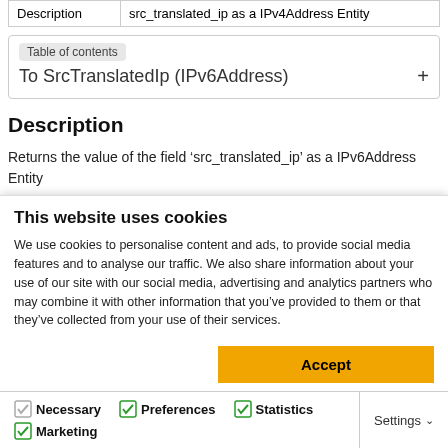| Description | src_translated_ip as a IPv4Address Entity |
| --- | --- |
Table of contents
To SrcTranslatedIp (IPv6Address) +
Description
Returns the value of the field ‘src_translated_ip’ as a IPv6Address Entity
Transform Meta Info
This website uses cookies
We use cookies to personalise content and ads, to provide social media features and to analyse our traffic. We also share information about your use of our site with our social media, advertising and analytics partners who may combine it with other information that you’ve provided to them or that they’ve collected from your use of their services.
Accept
Necessary  Preferences  Statistics  Marketing  Settings